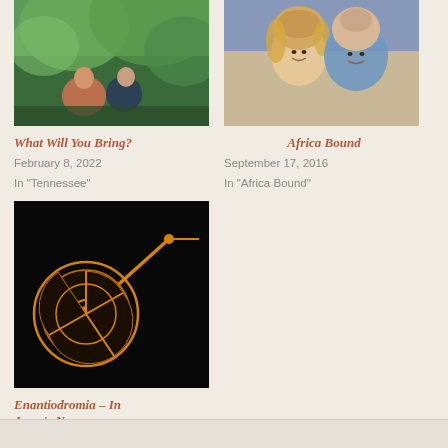[Figure (photo): Two people sitting outdoors in a wooded/forest setting with green foliage]
What Will You Bring?
February 8, 2022
In "Tennessee"
[Figure (photo): A smiling couple (man and woman) posing together for a photo]
Africa Bound
September 17, 2016
In "Africa Bound"
[Figure (photo): Dark background with an orange/gold film reel or mechanical gear-like illustration]
Enantiodromia – In Jesus's Name
August 13, 2022
In "Commentary"